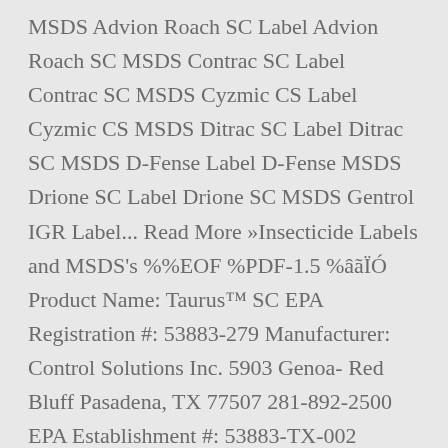MSDS Advion Roach SC Label Advion Roach SC MSDS Contrac SC Label Contrac SC MSDS Cyzmic CS Label Cyzmic CS MSDS Ditrac SC Label Ditrac SC MSDS D-Fense Label D-Fense MSDS Drione SC Label Drione SC MSDS Gentrol IGR Label... Read More »Insecticide Labels and MSDS's %%EOF %PDF-1.5 %âãÏÓ Product Name: Taurus™ SC EPA Registration #: 53883-279 Manufacturer: Control Solutions Inc. 5903 Genoa- Red Bluff Pasadena, TX 77507 281-892-2500 EPA Establishment #: 53883-TX-002 Section 2 – Chemical Composition Material CAS # % by Weight OSHA PEL/ACGIH TLV Fipronil 120068-37-3 9.1% None Established SDS Sheet; Market Label; Tekko® 0.2G Controlled Release Granular Mosquito